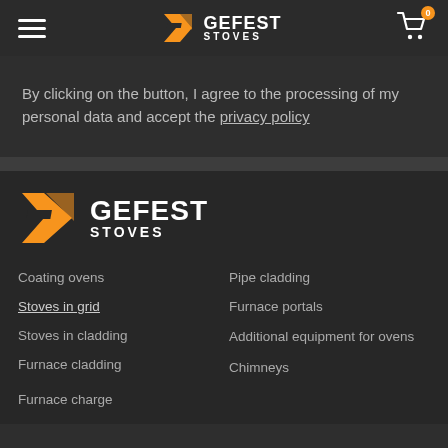GEFEST STOVES — navigation header with hamburger menu, logo, and cart icon (badge: 0)
By clicking on the button, I agree to the processing of my personal data and accept the privacy policy
[Figure (logo): GEFEST STOVES logo large in footer]
Coating ovens
Stoves in grid
Stoves in cladding
Furnace cladding
Furnace charge
Pipe cladding
Furnace portals
Additional equipment for ovens
Chimneys